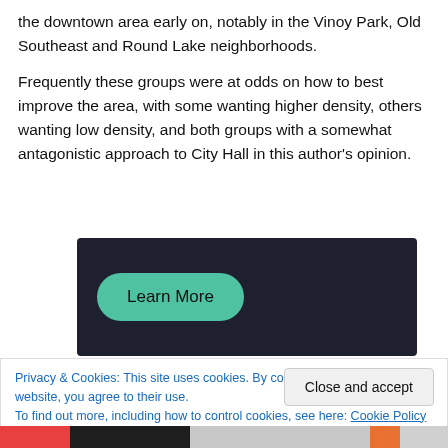the downtown area early on, notably in the Vinoy Park, Old Southeast and Round Lake neighborhoods.
Frequently these groups were at odds on how to best improve the area, with some wanting higher density, others wanting low density, and both groups with a somewhat antagonistic approach to City Hall in this author's opinion.
[Figure (other): Dark banner with a teal 'Learn More' button]
Privacy & Cookies: This site uses cookies. By continuing to use this website, you agree to their use.
To find out more, including how to control cookies, see here: Cookie Policy
Close and accept